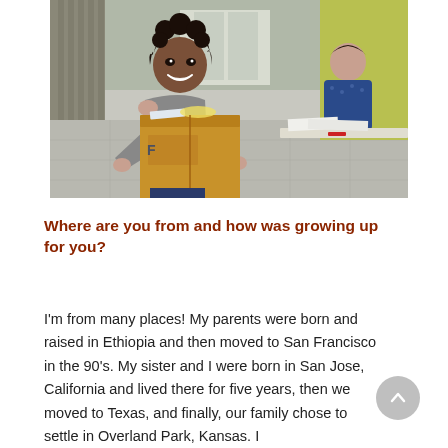[Figure (photo): A smiling woman with curly hair wearing a grey sweater carries a cardboard box filled with items. In the background, another woman in a blue patterned top sits at a table with papers. The setting appears to be an indoor lobby or community space.]
Where are you from and how was growing up for you?
I'm from many places! My parents were born and raised in Ethiopia and then moved to San Francisco in the 90's. My sister and I were born in San Jose, California and lived there for five years, then we moved to Texas, and finally, our family chose to settle in Overland Park, Kansas. I